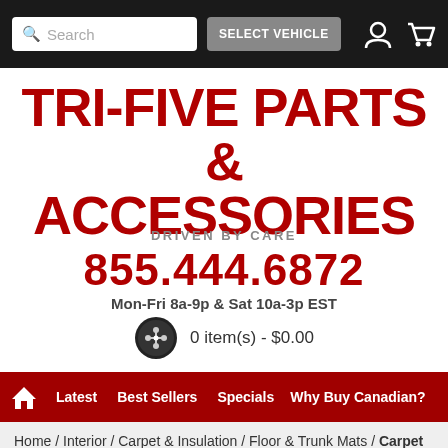[Figure (screenshot): Website top navigation bar with search box, SELECT VEHICLE button, user icon, and cart icon on black background]
TRI-FIVE PARTS & ACCESSORIES
DRIVEN BY CARE
855.444.6872
Mon-Fri 8a-9p & Sat 10a-3p EST
0 item(s) - $0.00
[Figure (screenshot): Red navigation menu bar with home icon, Latest, Best Sellers, Specials, Why Buy Canadian? links]
Home / Interior / Carpet & Insulation / Floor & Trunk Mats / Carpet Cargo Mats